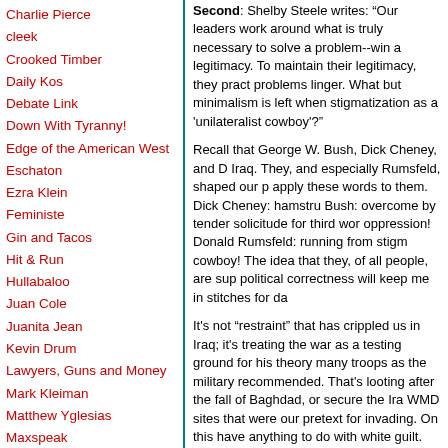Charlie Pierce
cleek
Crooked Timber
Daily Kos
Debate Link
Down With Tyranny!
Edge of the American West
Eschaton
Ezra Klein
Feministe
Gin and Tacos
Hit & Run
Hullabaloo
Juan Cole
Juanita Jean
Kevin Drum
Lawyers, Guns and Money
Mark Kleiman
Matthew Yglesias
Maxspeak
Mercury Rising
Michael Cain's Random
Second: Shelby Steele writes: 'Our leaders work around what is truly necessary to solve a problem--win a legitimacy. To maintain their legitimacy, they pract problems linger. What but minimalism is left when stigmatization as a \'unilateralist cowboy\'?'
Recall that George W. Bush, Dick Cheney, and D Iraq. They, and especially Rumsfeld, shaped our p apply these words to them. Dick Cheney: hamstru Bush: overcome by tender solicitude for third wor oppression! Donald Rumsfeld: running from stigm cowboy! The idea that they, of all people, are sup political correctness will keep me in stitches for da
It's not "restraint" that has crippled us in Iraq; it's treating the war as a testing ground for his theory many troops as the military recommended. That's looting after the fall of Baghdad, or secure the Ira WMD sites that were our pretext for invading. On this have anything to do with white guilt.
Third: We are fighting an insurgency. When you f care what the people around you think. If they are will not be able to function. If they are against you the insurgency will give it safe harbor, and you wi